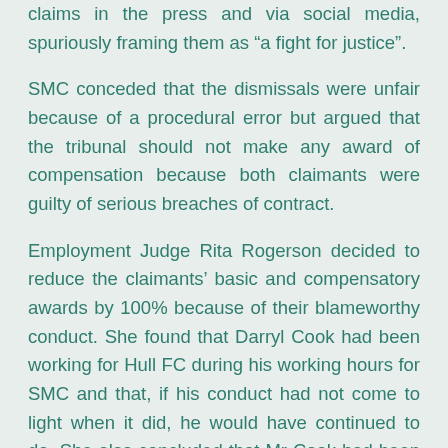claims in the press and via social media, spuriously framing them as "a fight for justice".
SMC conceded that the dismissals were unfair because of a procedural error but argued that the tribunal should not make any award of compensation because both claimants were guilty of serious breaches of contract.
Employment Judge Rita Rogerson decided to reduce the claimants' basic and compensatory awards by 100% because of their blameworthy conduct. She found that Darryl Cook had been working for Hull FC during his working hours for SMC and that, if his conduct had not come to light when it did, he would have continued to do. She also concluded that Mr Cook had been dishonest in his explanations to SMC and in his evidence to the employment tribunal.